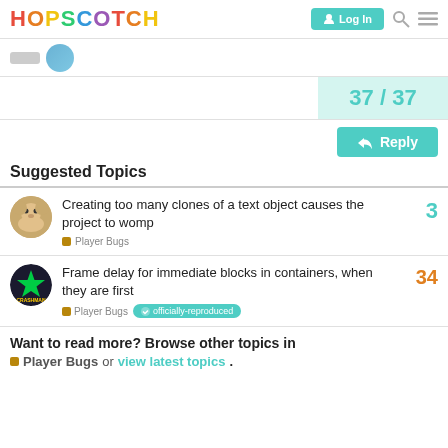HOPSCOTCH — Log In
[Figure (screenshot): Two user avatars in a row]
37 / 37
Reply
Suggested Topics
Creating too many clones of a text object causes the project to womp — Player Bugs — 3 replies
Frame delay for immediate blocks in containers, when they are first — Player Bugs — officially-reproduced — 34 replies
Want to read more? Browse other topics in Player Bugs or view latest topics.